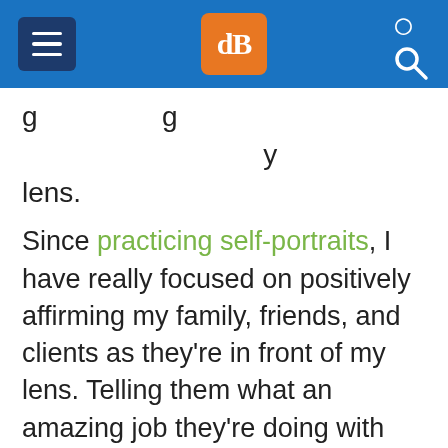dPS navigation header with hamburger menu, logo, and search icon
…g …g …y lens.
Since practicing self-portraits, I have really focused on positively affirming my family, friends, and clients as they're in front of my lens. Telling them what an amazing job they're doing with super awkward posing makes a difference. Commenting on how much you love the images so far is huge as well. Commenting on real attributes that make the person in front of your camera feel incredible makes a huge difference…